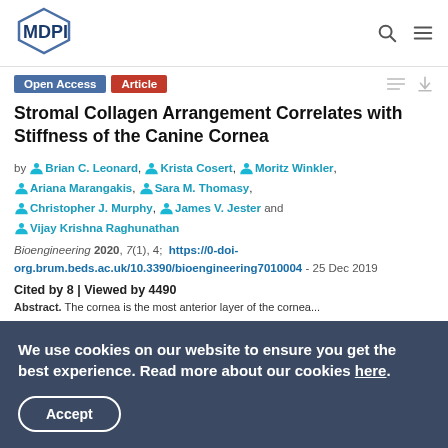MDPI — Open Access Article
Stromal Collagen Arrangement Correlates with Stiffness of the Canine Cornea
by Brian C. Leonard, Krista Cosert, Moritz Winkler, Ariana Marangakis, Sara M. Thomasy, Christopher J. Murphy, James V. Jester and Vijay Krishna Raghunathan
Bioengineering 2020, 7(1), 4; https://0-doi-org.brum.beds.ac.uk/10.3390/bioengineering7010004 - 25 Dec 2019
Cited by 8 | Viewed by 4490
Abstract. The cornea is the most anterior layer of the...
We use cookies on our website to ensure you get the best experience. Read more about our cookies here.
Accept